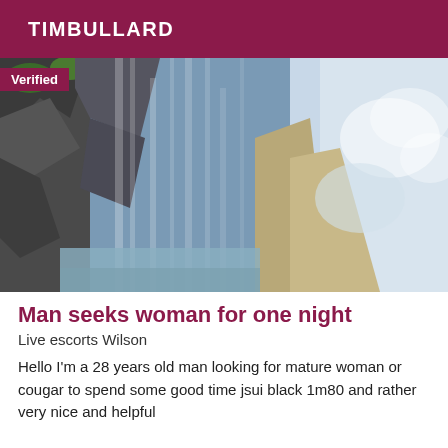TIMBULLARD
[Figure (photo): Outdoor waterfall scene with rocky cliffs and water cascading down, viewed from an angle. A sandy or cloudy area is visible on the right side. 'Verified' badge overlaid on top-left.]
Man seeks woman for one night
Live escorts Wilson
Hello I'm a 28 years old man looking for mature woman or cougar to spend some good time jsui black 1m80 and rather very nice and helpful